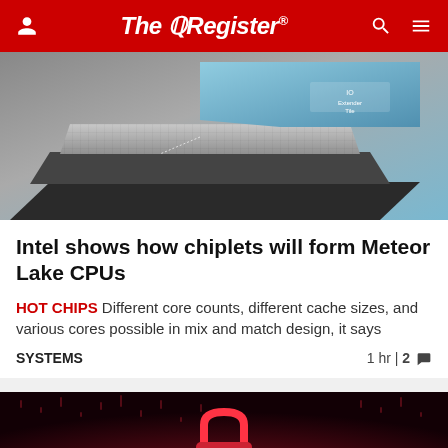The Register
[Figure (photo): 3D layered chiplet diagram showing stacked chip tiles in gray and blue tones, representing Intel Meteor Lake CPU architecture]
Intel shows how chiplets will form Meteor Lake CPUs
HOT CHIPS Different core counts, different cache sizes, and various cores possible in mix and match design, it says
SYSTEMS  1 hr | 2 comments
[Figure (photo): Dark red background with binary/digital matrix pattern and a glowing red padlock icon, representing cybersecurity theme]